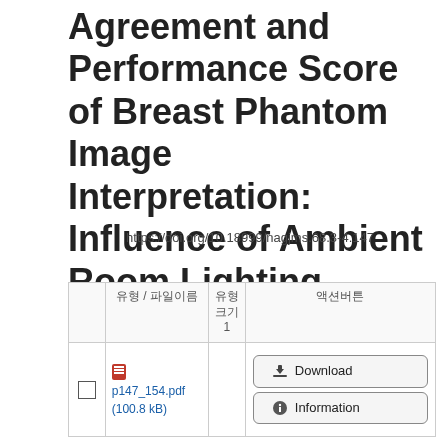Agreement and Performance Score of Breast Phantom Image Interpretation: Influence of Ambient Room Lighting Levels
https://doi.org/10.18999/nagjms.68.3-4.147
|  | 유형 / 파일이름 | 유형
크기
1 | 액션버튼 |
| --- | --- | --- | --- |
| ☐ | 유형 / 파일이름 | 유형
크기
1 | 액션버튼 |
| ☐ | p147_154.pdf (100.8 kB) |  | Download / Information |